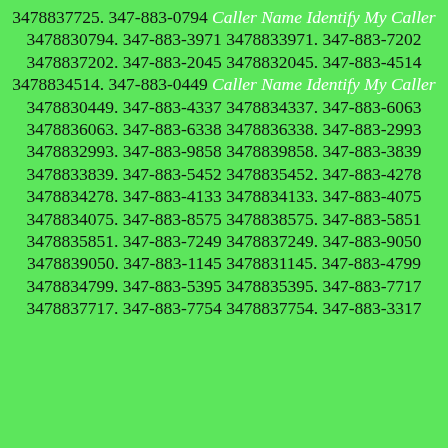3478837725. 347-883-0794 Caller Name Identify My Caller 3478830794. 347-883-3971 3478833971. 347-883-7202 3478837202. 347-883-2045 3478832045. 347-883-4514 3478834514. 347-883-0449 Caller Name Identify My Caller 3478830449. 347-883-4337 3478834337. 347-883-6063 3478836063. 347-883-6338 3478836338. 347-883-2993 3478832993. 347-883-9858 3478839858. 347-883-3839 3478833839. 347-883-5452 3478835452. 347-883-4278 3478834278. 347-883-4133 3478834133. 347-883-4075 3478834075. 347-883-8575 3478838575. 347-883-5851 3478835851. 347-883-7249 3478837249. 347-883-9050 3478839050. 347-883-1145 3478831145. 347-883-4799 3478834799. 347-883-5395 3478835395. 347-883-7717 3478837717. 347-883-7754 3478837754. 347-883-3317